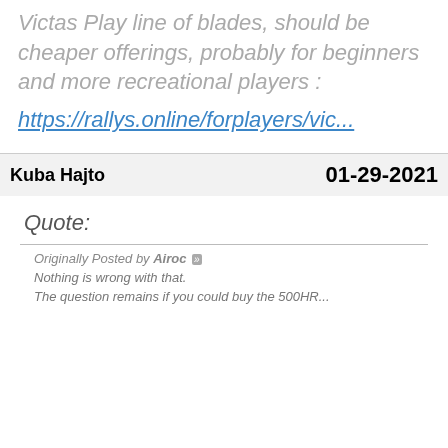Victas Play line of blades, should be cheaper offerings, probably for beginners and more recreational players :
https://rallys.online/forplayers/vic...
Kuba Hajto
01-29-2021
Quote:
Originally Posted by Airoc
Nothing is wrong with that.
The question remains if you could buy the 500HR...